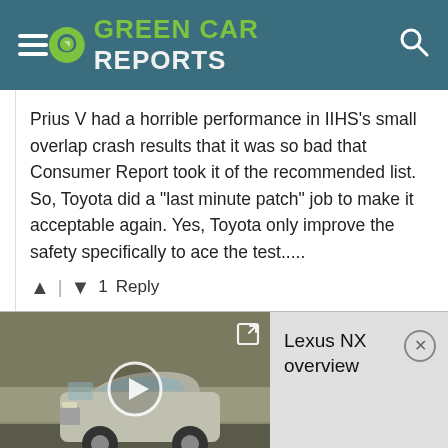GREEN CAR REPORTS
Prius V had a horrible performance in IIHS's small overlap crash results that it was so bad that Consumer Report took it of the recommended list. So, Toyota did a "last minute patch" job to make it acceptable again. Yes, Toyota only improve the safety specifically to ace the test.....
▲ | ▼ 1 Reply
[Figure (screenshot): Video thumbnail showing a silver Lexus NX SUV driving on a road, with a play button overlay and expand icon]
Lexus NX overview